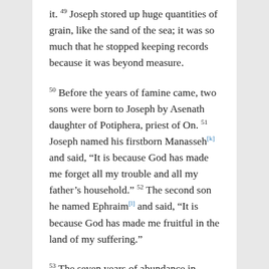it. 49 Joseph stored up huge quantities of grain, like the sand of the sea; it was so much that he stopped keeping records because it was beyond measure.
50 Before the years of famine came, two sons were born to Joseph by Asenath daughter of Potiphera, priest of On. 51 Joseph named his firstborn Manasseh[k] and said, “It is because God has made me forget all my trouble and all my father’s household.” 52 The second son he named Ephraim[l] and said, “It is because God has made me fruitful in the land of my suffering.”
53 The seven years of abundance in Egypt came to an end, 54 and the seven years of famine began, just as Joseph had said. There was